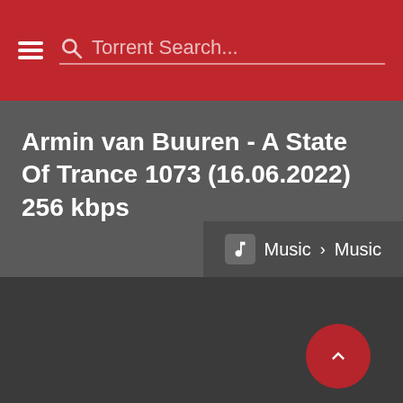Torrent Search...
Armin van Buuren - A State Of Trance 1073 (16.06.2022) 256 kbps
Music > Music